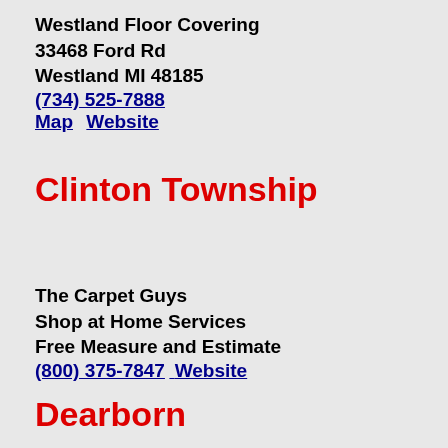Westland Floor Covering
33468 Ford Rd
Westland MI 48185
(734) 525-7888
Map   Website
Clinton Township
The Carpet Guys
Shop at Home Services
Free Measure and Estimate
(800) 375-7847   Website
Dearborn